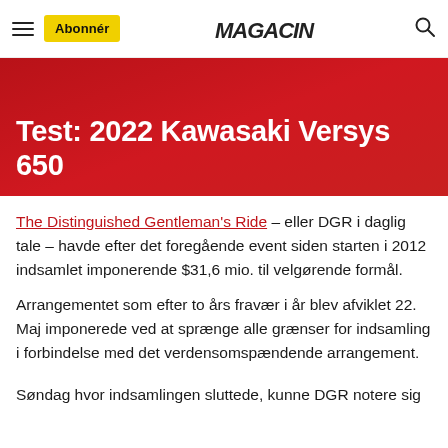Abonnér | MAGACIN
Test: 2022 Kawasaki Versys 650
The Distinguished Gentleman's Ride – eller DGR i daglig tale – havde efter det foregående event siden starten i 2012 indsamlet imponerende $31,6 mio. til velgørende formål.
Arrangementet som efter to års fravær i år blev afviklet 22. Maj imponerede ved at sprænge alle grænser for indsamling i forbindelse med det verdensomspændende arrangement.
Søndag hvor indsamlingen sluttede, kunne DGR notere sig